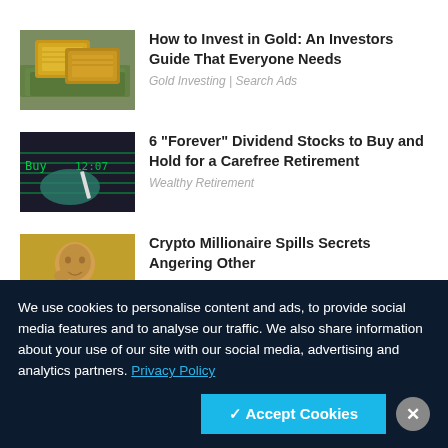[Figure (photo): Gold bars on top of US dollar bills]
How to Invest in Gold: An Investors Guide That Everyone Needs
Gold Investing | Search Ads
[Figure (photo): Hand holding a pen near a stock ticker display showing Buy and 12:07]
6 "Forever" Dividend Stocks to Buy and Hold for a Carefree Retirement
Wealthy Retirement
[Figure (photo): Older man looking distressed in front of a gold background]
Crypto Millionaire Spills Secrets Angering Other
We use cookies to personalise content and ads, to provide social media features and to analyse our traffic. We also share information about your use of our site with our social media, advertising and analytics partners. Privacy Policy
✓ Accept Cookies